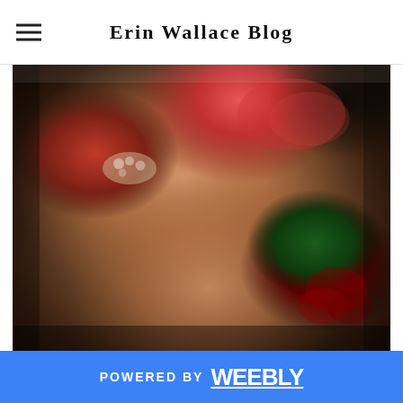Erin Wallace Blog
[Figure (photo): A person wearing red lace lingerie and a pearl bracelet, bending forward, with dark red roses and dark background with candelabra.]
POWERED BY weebly